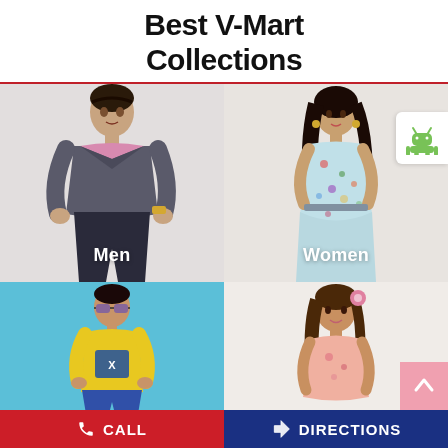Best V-Mart Collections
[Figure (photo): Four fashion category images in a 2x2 grid: Men (man in grey blazer and pink shirt), Women (woman in floral dress), Boys (boy in yellow t-shirt on cyan background), Girls (girl with pink flower in hair)]
Men
Women
CALL   DIRECTIONS